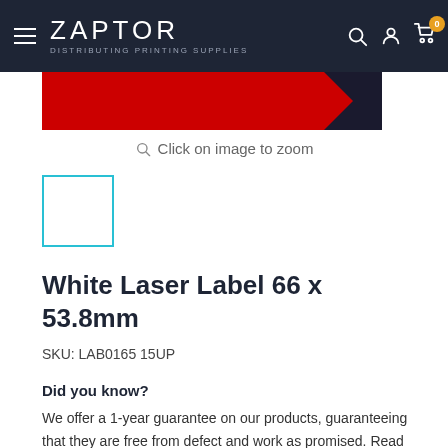Zaptor – Distributing Printing Supplies
[Figure (photo): Product image showing a red label roll with dark corner, partially visible at top of page]
Click on image to zoom
[Figure (photo): Thumbnail of white laser label product, selected with cyan border]
White Laser Label 66 x 53.8mm
SKU: LAB0165 15UP
Did you know?
We offer a 1-year guarantee on our products, guaranteeing that they are free from defect and work as promised. Read more